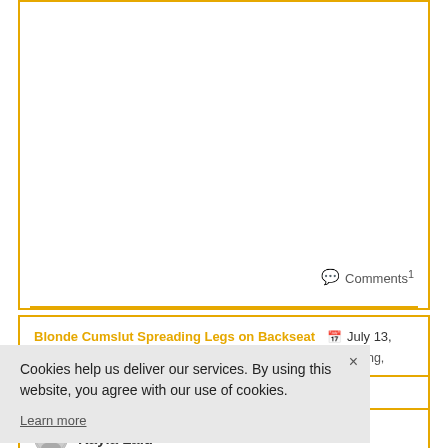Comments 1
Blonde Cumslut Spreading Legs on Backseat   July 13, 2020   HWC   Bottomless, Cheating, Cum Slut, Flashing, Public
Cookies help us deliver our services. By using this website, you agree with our use of cookies.
Learn more
...oreading
Kayla Laid